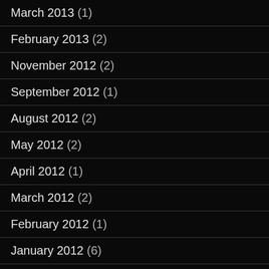March 2013 (1)
February 2013 (2)
November 2012 (2)
September 2012 (1)
August 2012 (2)
May 2012 (2)
April 2012 (1)
March 2012 (2)
February 2012 (1)
January 2012 (6)
December 2011 (1)
November 2011 (3)
September 2011 (2)